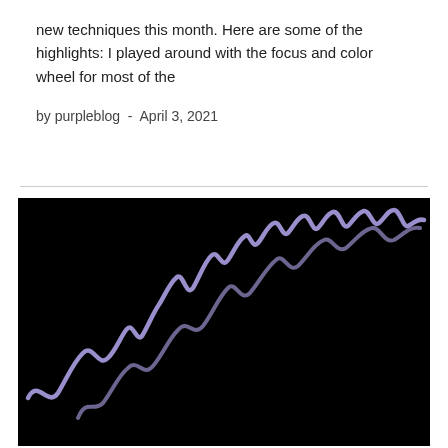new techniques this month. Here are some of the highlights: I played around with the focus and color wheel for most of the
by purpleblog  -  April 3, 2021
[Figure (photo): Black background with purple/lavender cursive handwriting or signature-like squiggly lines forming wave patterns across the image.]